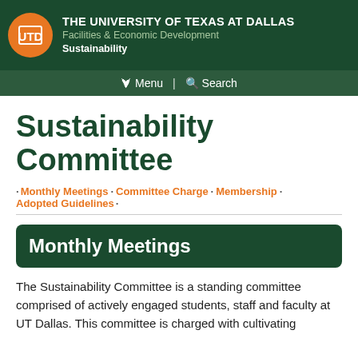THE UNIVERSITY OF TEXAS AT DALLAS | Facilities & Economic Development | Sustainability
Sustainability Committee
· Monthly Meetings · Committee Charge · Membership · Adopted Guidelines ·
Monthly Meetings
The Sustainability Committee is a standing committee comprised of actively engaged students, staff and faculty at UT Dallas. This committee is charged with cultivating